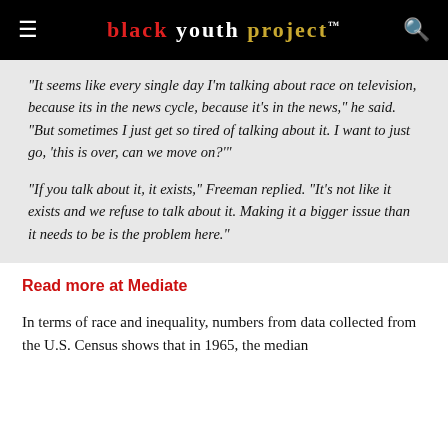black youth project™
“It seems like every single day I’m talking about race on television, because its in the news cycle, because it’s in the news,” he said. “But sometimes I just get so tired of talking about it. I want to just go, ‘this is over, can we move on?’”
“If you talk about it, it exists,” Freeman replied. “It’s not like it exists and we refuse to talk about it. Making it a bigger issue than it needs to be is the problem here.”
Read more at Mediate
In terms of race and inequality, numbers from data collected from the U.S. Census shows that in 1965, the median